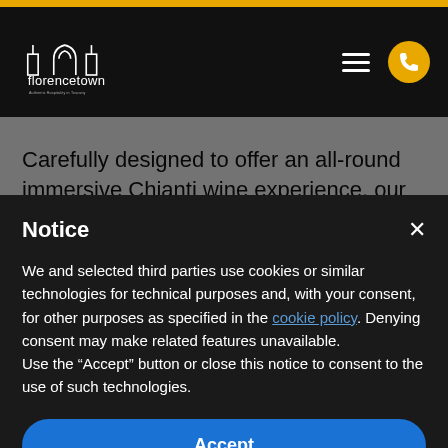[Figure (logo): Florencetown logo - white text and icon on black background with text 'Authentic Hospitality in Tuscany']
Carefully designed to offer an all-round immersive Chianti wine experience, our signature Tuscany Wine
Notice
We and selected third parties use cookies or similar technologies for technical purposes and, with your consent, for other purposes as specified in the cookie policy. Denying consent may make related features unavailable.
Use the “Accept” button or close this notice to consent to the use of such technologies.